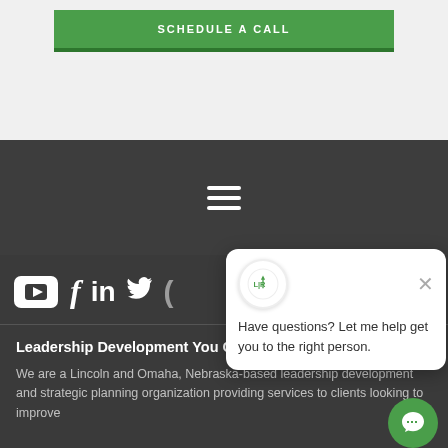SCHEDULE A CALL
[Figure (screenshot): Hamburger menu icon (three horizontal white lines on dark background)]
[Figure (screenshot): Social media icons row: YouTube, Facebook, LinkedIn, Twitter, and another icon on dark background]
[Figure (screenshot): Chat popup with LR logo, close button, and text: Have questions? Let me help get you to the right person.]
Leadership Development You Can Trust
We are a Lincoln and Omaha, Nebraska-based leadership development and strategic planning organization providing services to clients looking to improve...